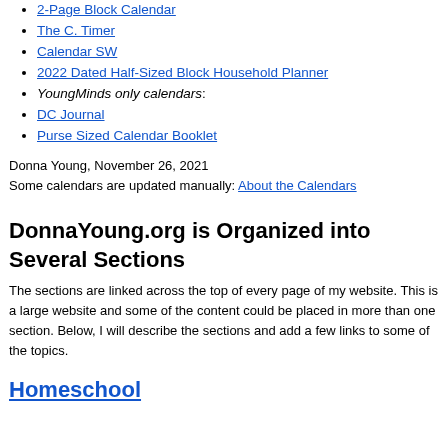2-Page Block Calendar
The C. Timer
Calendar SW
2022 Dated Half-Sized Block Household Planner
YoungMinds only calendars:
DC Journal
Purse Sized Calendar Booklet
Donna Young, November 26, 2021
Some calendars are updated manually: About the Calendars
DonnaYoung.org is Organized into Several Sections
The sections are linked across the top of every page of my website. This is a large website and some of the content could be placed in more than one section. Below, I will describe the sections and add a few links to some of the topics.
Homeschool